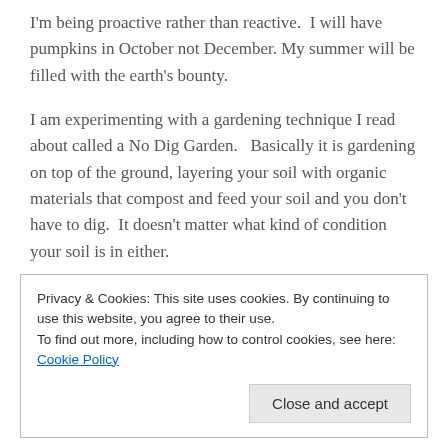I'm being proactive rather than reactive. I will have pumpkins in October not December. My summer will be filled with the earth's bounty.
I am experimenting with a gardening technique I read about called a No Dig Garden. Basically it is gardening on top of the ground, layering your soil with organic materials that compost and feed your soil and you don't have to dig. It doesn't matter what kind of condition your soil is in either.
Privacy & Cookies: This site uses cookies. By continuing to use this website, you agree to their use.
To find out more, including how to control cookies, see here: Cookie Policy
Close and accept